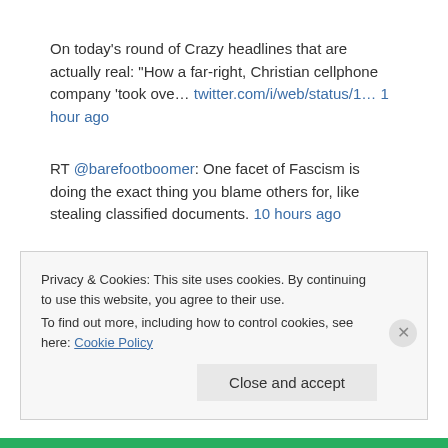On today's round of Crazy headlines that are actually real: "How a far-right, Christian cellphone company 'took ove… twitter.com/i/web/status/1… 1 hour ago
RT @barefootboomer: One facet of Fascism is doing the exact thing you blame others for, like stealing classified documents. 10 hours ago
RT @davenewworld_2: Last year, every CIA base around the world received an unusual warning from
Privacy & Cookies: This site uses cookies. By continuing to use this website, you agree to their use.
To find out more, including how to control cookies, see here: Cookie Policy
Close and accept